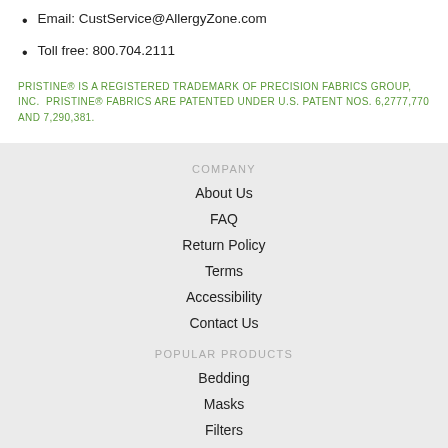Email: CustService@AllergyZone.com
Toll free: 800.704.2111
PRISTINE® IS A REGISTERED TRADEMARK OF PRECISION FABRICS GROUP, INC. PRISTINE® FABRICS ARE PATENTED UNDER U.S. PATENT NOS. 6,2777,770 AND 7,290,381.
COMPANY
About Us
FAQ
Return Policy
Terms
Accessibility
Contact Us
POPULAR PRODUCTS
Bedding
Masks
Filters